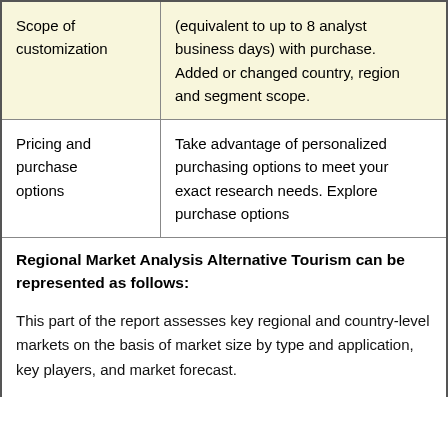|  |  |
| --- | --- |
| Scope of customization | (equivalent to up to 8 analyst business days) with purchase. Added or changed country, region and segment scope. |
| Pricing and purchase options | Take advantage of personalized purchasing options to meet your exact research needs. Explore purchase options |
Regional Market Analysis Alternative Tourism can be represented as follows:
This part of the report assesses key regional and country-level markets on the basis of market size by type and application, key players, and market forecast.